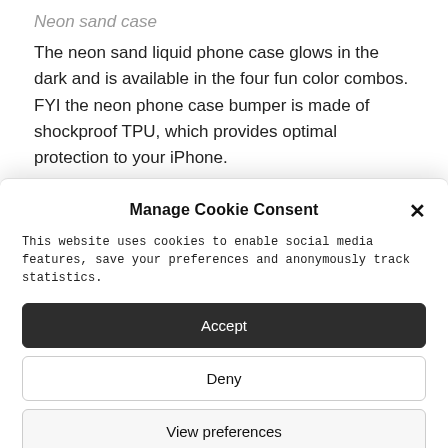Neon sand case
The neon sand liquid phone case glows in the dark and is available in the four fun color combos. FYI the neon phone case bumper is made of shockproof TPU, which provides optimal protection to your iPhone.
Manage Cookie Consent
This website uses cookies to enable social media features, save your preferences and anonymously track statistics.
Accept
Deny
View preferences